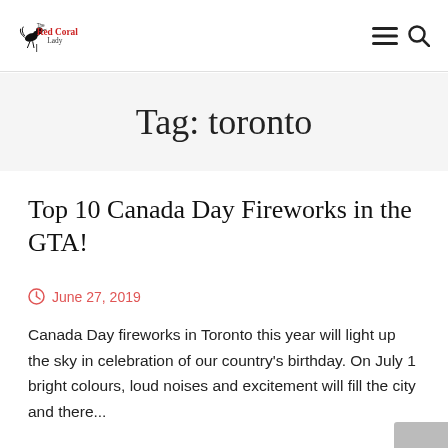The Red Coral Lady — navigation header with logo, hamburger menu, and search icon
Tag: toronto
Top 10 Canada Day Fireworks in the GTA!
June 27, 2019
Canada Day fireworks in Toronto this year will light up the sky in celebration of our country's birthday. On July 1 bright colours, loud noises and excitement will fill the city and there...